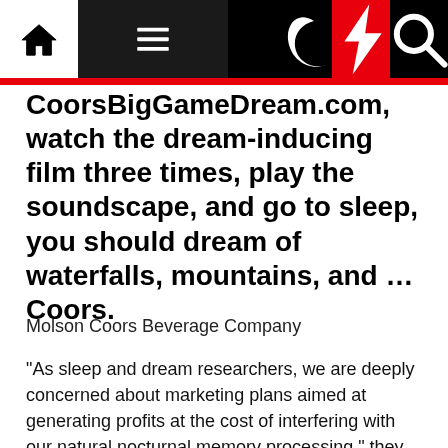Navigation bar with home, menu, moon, bolt, and search icons
CoorsBigGameDream.com, watch the dream-inducing film three times, play the soundscape, and go to sleep, you should dream of waterfalls, mountains, and … Coors.
Molson Coors Beverage Company
“As sleep and dream researchers, we are deeply concerned about marketing plans aimed at generating profits at the cost of interfering with our natural nocturnal memory processing,” they say. Three researchers from MIT and Harvard wrote the letter, and dozens more sleep